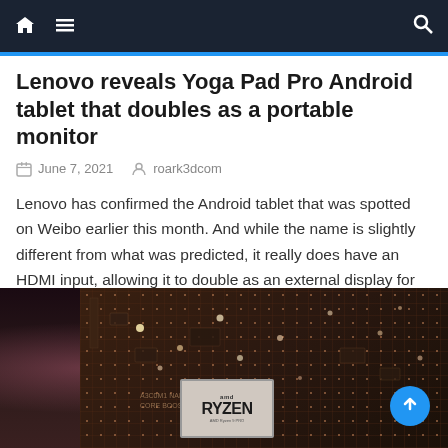Navigation bar with home icon, menu icon, and search icon
Lenovo reveals Yoga Pad Pro Android tablet that doubles as a portable monitor
June 7, 2021   roark3dcom
Lenovo has confirmed the Android tablet that was spotted on Weibo earlier this month. And while the name is slightly different from what was predicted, it really does have an HDMI input, allowing it to double as an external display for any compatible device, including the Nintendo Switch. It was assumed that the device seen [...]
[Figure (photo): Close-up photo of a computer motherboard with copper traces and circuit components, with an AMD Ryzen CPU chip visible at the bottom center. Purple/pink lighting on the left side. A blue circular scroll-to-top button is in the lower right corner.]